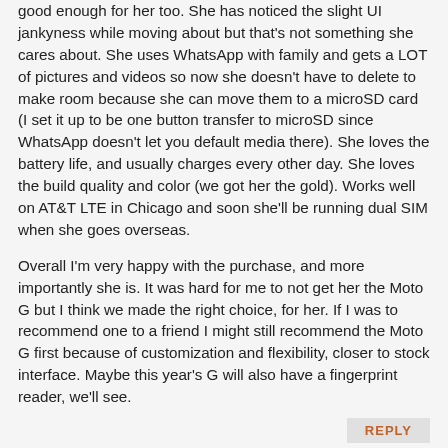good enough for her too. She has noticed the slight UI jankyness while moving about but that's not something she cares about. She uses WhatsApp with family and gets a LOT of pictures and videos so now she doesn't have to delete to make room because she can move them to a microSD card (I set it up to be one button transfer to microSD since WhatsApp doesn't let you default media there). She loves the battery life, and usually charges every other day. She loves the build quality and color (we got her the gold). Works well on AT&T LTE in Chicago and soon she'll be running dual SIM when she goes overseas.
Overall I'm very happy with the purchase, and more importantly she is. It was hard for me to not get her the Moto G but I think we made the right choice, for her. If I was to recommend one to a friend I might still recommend the Moto G first because of customization and flexibility, closer to stock interface. Maybe this year's G will also have a fingerprint reader, we'll see.
REPLY
zeeBomb - Monday, February 29, 2016 - link
Phone doesn't surprise me due to all the phones I looked at MWC, LOL.
Brandon, if you get the chance, review the Alcatel Idol 4!
REPLY